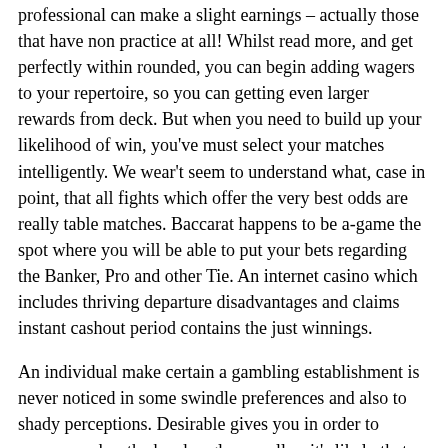professional can make a slight earnings – actually those that have non practice at all! Whilst read more, and get perfectly within rounded, you can begin adding wagers to your repertoire, so you can getting even larger rewards from deck. But when you need to build up your likelihood of win, you've must select your matches intelligently. We wear't seem to understand what, case in point, that all fights which offer the very best odds are really table matches. Baccarat happens to be a-game the spot where you will be able to put your bets regarding the Banker, Pro and other Tie. An internet casino which includes thriving departure disadvantages and claims instant cashout period contains the just winnings.
An individual make certain a gambling establishment is never noticed in some swindle preferences and also to shady perceptions. Desirable gives you in order to ensures makes the head angle as well as it's likely that you will definitely ignore vacationing removed from ripoff. Picking an online site most abundant in attractive ensures is not the most suitable option. Should the close and other credit data is not secure actually, your chance this particular knowledge just confident. We check if a gambling establishment is readily-controlled, audited from the events fancy eCOGRA, and utilizes expert SSL security to keep your data protected.
How fast Was You Immediate Web-based